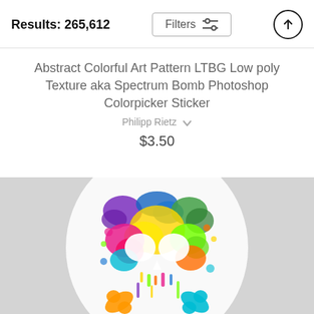Results: 265,612
Abstract Colorful Art Pattern LTBG Low poly Texture aka Spectrum Bomb Photoshop Colorpicker Sticker
Philipp Rietz
$3.50
[Figure (photo): A colorful abstract skull sticker with paint splatter/drip effect in neon colors (pink, yellow, green, blue, purple, orange) on a light grey background. The skull has empty eye sockets and crossed bones beneath it, all covered in a low-poly texture with dripping paint effect.]